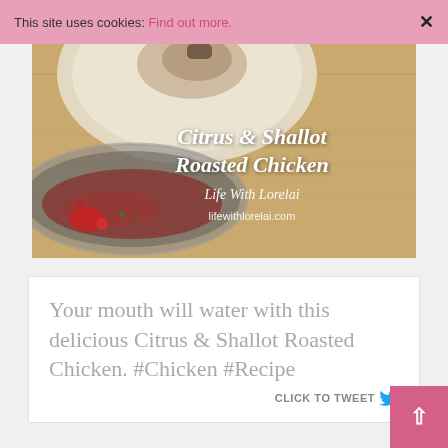This site uses cookies: Find out more. ×
[Figure (photo): Food photo showing a roasted chicken dish in a pan on a wooden surface, with text overlay reading 'Citrus & Shallot Roasted Chicken – Life With Lorelai – lifewithlorelai.com']
Your mouth will water with this delicious Citrus & Shallot Roasted Chicken. #Chicken #Recipe
CLICK TO TWEET